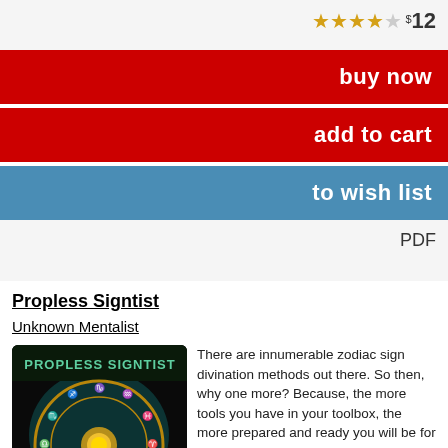★★★★☆ $12
buy now
add to cart
to wish list
PDF
Propless Signtist
Unknown Mentalist
[Figure (illustration): Book cover for Propless Signtist showing a zodiac wheel with astrological symbols on a dark background with teal/golden decorative elements]
There are innumerable zodiac sign divination methods out there. So then, why one more? Because, the more tools you have in your toolbox, the more prepared and ready you will be for any type of work situation. Propless SignTist, as the name suggests is a completely propless and 100% surefire method. The process is simple, short, justified, and flows smoothly. You can